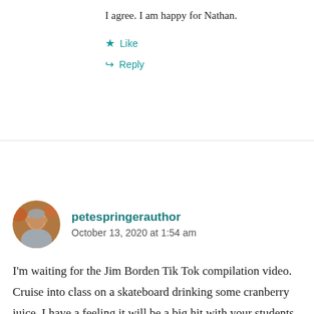I agree. I am happy for Nathan.
★ Like
↪ Reply
petespringerauthor
October 13, 2020 at 1:54 am
I'm waiting for the Jim Borden Tik Tok compilation video. Cruise into class on a skateboard drinking some cranberry juice. I have a feeling it will be a big hit with your students. Frankly, I don't think it will matter what your song choice is. 😎
★ Liked by 1 person